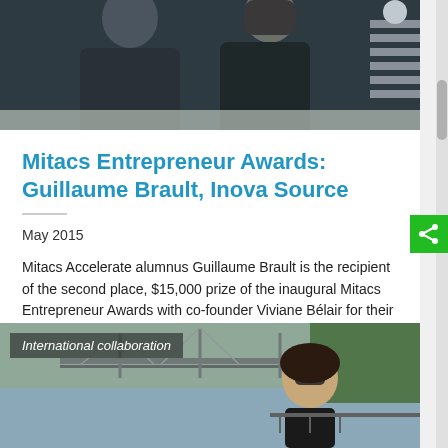[Figure (photo): Two people in dark formal attire standing together, partial upper body visible, dark background with stairs visible on right side.]
Mitacs Entrepreneur Awards: Guillaume Brault, Inova Source
May 2015
Mitacs Accelerate alumnus Guillaume Brault is the recipient of the second place, $15,000 prize of the inaugural Mitacs Entrepreneur Awards with co-founder Viviane Bélair for their company, Inova Source.
[Figure (photo): Woman smiling in sunglasses outdoors near a bridge and river with trees in background. Label reads 'International collaboration'.]